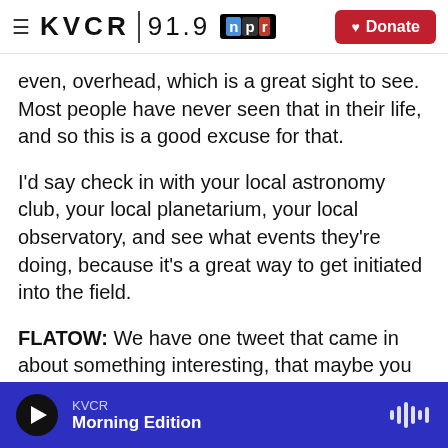KVCR 91.9 NPR | Donate
even, overhead, which is a great sight to see. Most people have never seen that in their life, and so this is a good excuse for that.
I'd say check in with your local astronomy club, your local planetarium, your local observatory, and see what events they're doing, because it's a great way to get initiated into the field.
FLATOW: We have one tweet that came in about something interesting, that maybe you can help out. DDNH writes: Is there a simply method to photograph spectra of the upcoming meteor
KVCR Morning Edition